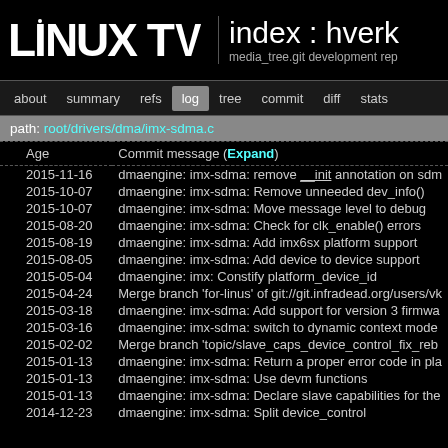LINUX TV  index : hverk  media_tree.git development rep
about  summary  refs  log  tree  commit  diff  stats
path: root/drivers/dma/imx-sdma.c
| Age | Commit message (Expand) |
| --- | --- |
| 2015-11-16 | dmaengine: imx-sdma: remove __init annotation on sdm |
| 2015-10-07 | dmaengine: imx-sdma: Remove unneeded dev_info() |
| 2015-10-07 | dmaengine: imx-sdma: Move message level to debug |
| 2015-08-20 | dmaengine: imx-sdma: Check for clk_enable() errors |
| 2015-08-19 | dmaengine: imx-sdma: Add imx6sx platform support |
| 2015-08-05 | dmaengine: imx-sdma: Add device to device support |
| 2015-05-04 | dmaengine: imx: Constify platform_device_id |
| 2015-04-24 | Merge branch 'for-linus' of git://git.infradead.org/users/vk |
| 2015-03-18 | dmaengine: imx-sdma: Add support for version 3 firmwa |
| 2015-03-16 | dmaengine: imx-sdma: switch to dynamic context mode |
| 2015-02-02 | Merge branch 'topic/slave_caps_device_control_fix_reb |
| 2015-01-13 | dmaengine: imx-sdma: Return a proper error code in pla |
| 2015-01-13 | dmaengine: imx-sdma: Use devm functions |
| 2015-01-13 | dmaengine: imx-sdma: Declare slave capabilities for the |
| 2014-12-23 | dmaengine: imx-sdma: Split device_control |